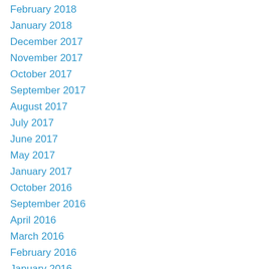February 2018
January 2018
December 2017
November 2017
October 2017
September 2017
August 2017
July 2017
June 2017
May 2017
January 2017
October 2016
September 2016
April 2016
March 2016
February 2016
January 2016
December 2015
November 2015
October 2015